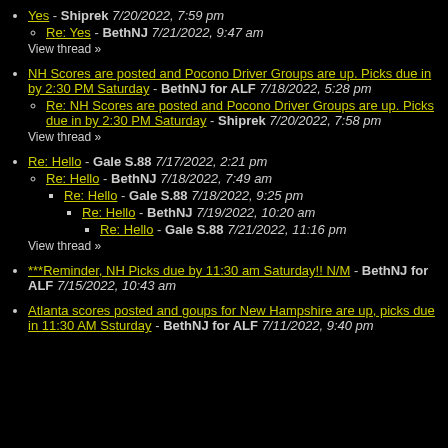Yes - Shiprek 7/20/2022, 7:59 pm
  Re: Yes - BethNJ 7/21/2022, 9:47 am
  View thread »
NH Scores are posted and Pocono Driver Groups are up. Picks due in by 2:30 PM Saturday - BethNJ for ALF 7/18/2022, 5:28 pm
  Re: NH Scores are posted and Pocono Driver Groups are up. Picks due in by 2:30 PM Saturday - Shiprek 7/20/2022, 7:58 pm
  View thread »
Re: Hello - Gale S.88 7/17/2022, 2:21 pm
  Re: Hello - BethNJ 7/18/2022, 7:49 am
    Re: Hello - Gale S.88 7/18/2022, 9:25 pm
      Re: Hello - BethNJ 7/19/2022, 10:20 am
        Re: Hello - Gale S.88 7/21/2022, 11:16 pm
  View thread »
***Reminder, NH Picks due by 11:30 am Saturday!! N/M - BethNJ for ALF 7/15/2022, 10:43 am
Atlanta scores posted and goups for New Hampshire are up, picks due in 11:30 AM Ssturday - BethNJ for ALF 7/11/2022, 9:40 pm